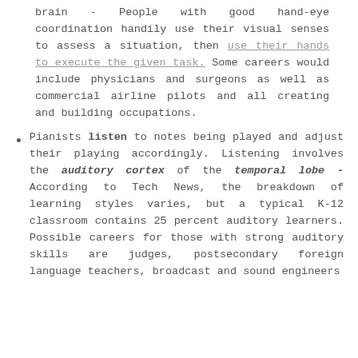brain - People with good hand-eye coordination handily use their visual senses to assess a situation, then use their hands to execute the given task. Some careers would include physicians and surgeons as well as commercial airline pilots and all creating and building occupations.
Pianists listen to notes being played and adjust their playing accordingly. Listening involves the auditory cortex of the temporal lobe - According to Tech News, the breakdown of learning styles varies, but a typical K-12 classroom contains 25 percent auditory learners. Possible careers for those with strong auditory skills are judges, postsecondary foreign language teachers, broadcast and sound engineers